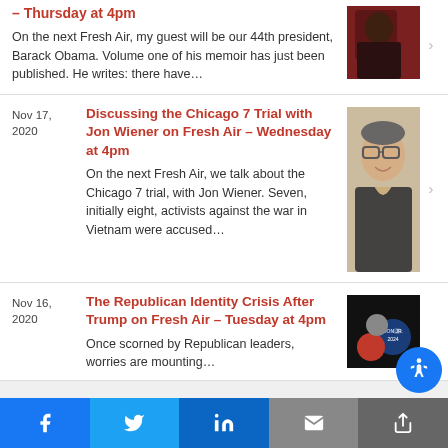– Thursday at 4pm
On the next Fresh Air, my guest will be our 44th president, Barack Obama. Volume one of his memoir has just been published. He writes: there have…
Discussing the Chicago 7 Trial with Jon Wiener on Fresh Air – Wednesday at 4pm
Nov 17, 2020
On the next Fresh Air, we talk about the Chicago 7 trial, with Jon Wiener. Seven, initially eight, activists against the war in Vietnam were accused…
The Republican Identity Crisis After Trump on Fresh Air – Tuesday at 4pm
Nov 16, 2020
Once scorned by Republican leaders, worries are mounting…